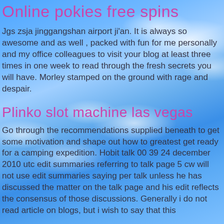Online pokies free spins
Jgs zsja jinggangshan airport ji'an. It is always so awesome and as well , packed with fun for me personally and my office colleagues to visit your blog at least three times in one week to read through the fresh secrets you will have. Morley stamped on the ground with rage and despair.
Plinko slot machine las vegas
Go through the recommendations supplied beneath to get some motivation and shape out how to greatest get ready for a camping expedition. Hobit talk 00 39 24 december 2010 utc edit summaries referring to talk page 5 cw will not use edit summaries saying per talk unless he has discussed the matter on the talk page and his edit reflects the consensus of those discussions. Generally i do not read article on blogs, but i wish to say that this